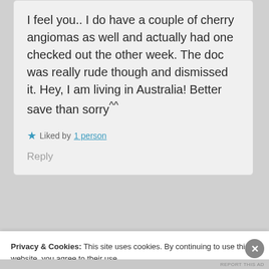I feel you.. I do have a couple of cherry angiomas as well and actually had one checked out the other week. The doc was really rude though and dismissed it. Hey, I am living in Australia! Better save than sorry^^
★ Liked by 1 person
Reply
Privacy & Cookies: This site uses cookies. By continuing to use this website, you agree to their use.
To find out more, including how to control cookies, see here: Cookie Policy
Close and accept